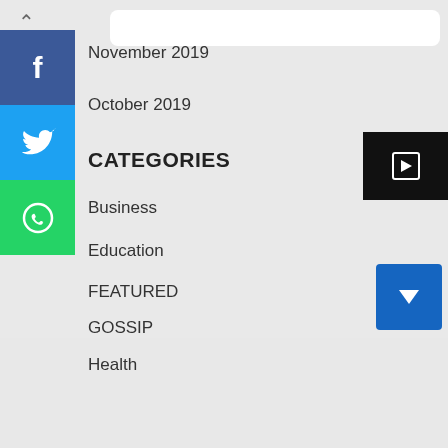[Figure (screenshot): Advertisement banner for Bibi and Tina YouTube Channel with Subscribe button]
Bibi and Tina YouTube Channel
The Official Bibi & Tina YouTube Channel. A new adventure will be uploaded every thursday! Bibi and Tina
[Figure (screenshot): Subscribe button in blue border]
November 2019
October 2019
CATEGORIES
Business
Education
FEATURED
GOSSIP
Health